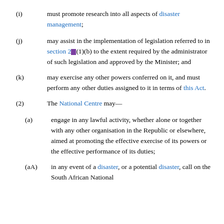(i) must promote research into all aspects of disaster management;
(j) may assist in the implementation of legislation referred to in section 2(1)(b) to the extent required by the administrator of such legislation and approved by the Minister; and
(k) may exercise any other powers conferred on it, and must perform any other duties assigned to it in terms of this Act.
(2) The National Centre may—
(a) engage in any lawful activity, whether alone or together with any other organisation in the Republic or elsewhere, aimed at promoting the effective exercise of its powers or the effective performance of its duties;
(aA) in any event of a disaster, or a potential disaster, call on the South African National